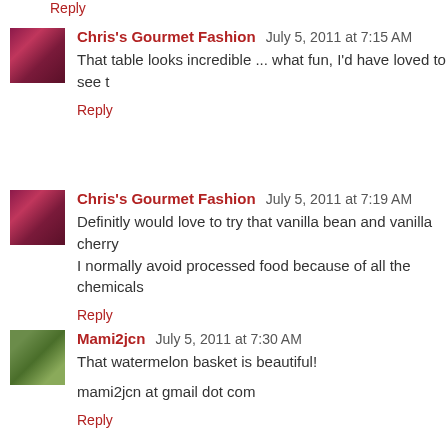Reply
Chris's Gourmet Fashion  July 5, 2011 at 7:15 AM
That table looks incredible ... what fun, I'd have loved to see t
Reply
Chris's Gourmet Fashion  July 5, 2011 at 7:19 AM
Definitly would love to try that vanilla bean and vanilla cherry I normally avoid processed food because of all the chemicals
Reply
Mami2jcn  July 5, 2011 at 7:30 AM
That watermelon basket is beautiful!
mami2jcn at gmail dot com
Reply